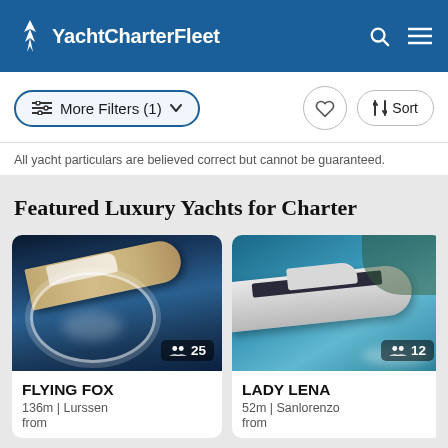YachtCharterFleet
More Filters (1)
All yacht particulars are believed correct but cannot be guaranteed.
Featured Luxury Yachts for Charter
[Figure (photo): Aerial photo of superyacht FLYING FOX, 136m, making a circular wake on dark blue water, guest capacity 25]
FLYING FOX
136m | Lurssen
from
[Figure (photo): Photo of superyacht LADY LENA, 52m, Sanlorenzo, underway on blue water, guest capacity 12]
LADY LENA
52m | Sanlorenzo
from
[Figure (photo): Partial photo of third yacht, partially cropped, 50m, from]
DA
50m
from